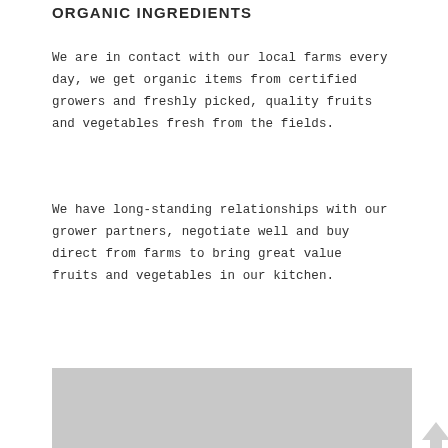ORGANIC INGREDIENTS
We are in contact with our local farms every day, we get organic items from certified growers and freshly picked, quality fruits and vegetables fresh from the fields.
We have long-standing relationships with our grower partners, negotiate well and buy direct from farms to bring great value fruits and vegetables in our kitchen.
[Figure (photo): Gray placeholder image area at bottom of page]